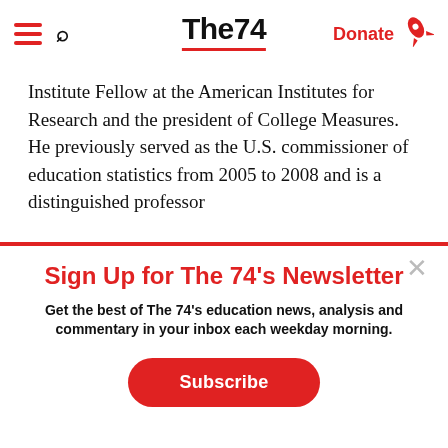The74 — Donate
Institute Fellow at the American Institutes for Research and the president of College Measures. He previously served as the U.S. commissioner of education statistics from 2005 to 2008 and is a distinguished professor
Sign Up for The 74's Newsletter
Get the best of The 74's education news, analysis and commentary in your inbox each weekday morning.
Subscribe